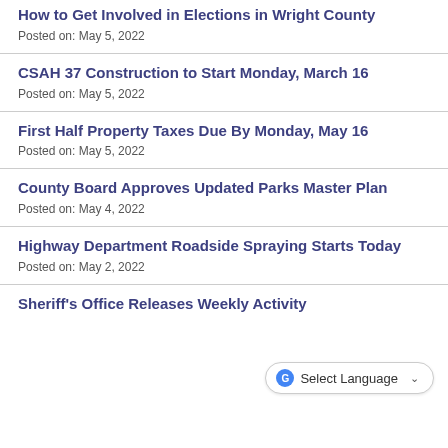How to Get Involved in Elections in Wright County
Posted on: May 5, 2022
CSAH 37 Construction to Start Monday, March 16
Posted on: May 5, 2022
First Half Property Taxes Due By Monday, May 16
Posted on: May 5, 2022
County Board Approves Updated Parks Master Plan
Posted on: May 4, 2022
Highway Department Roadside Spraying Starts Today
Posted on: May 2, 2022
Sheriff's Office Releases Weekly Activity